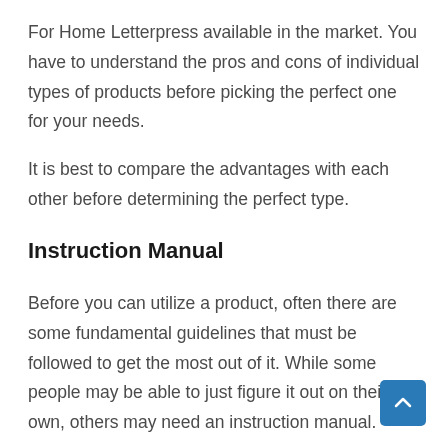For Home Letterpress available in the market. You have to understand the pros and cons of individual types of products before picking the perfect one for your needs.
It is best to compare the advantages with each other before determining the perfect type.
Instruction Manual
Before you can utilize a product, often there are some fundamental guidelines that must be followed to get the most out of it. While some people may be able to just figure it out on their own, others may need an instruction manual.